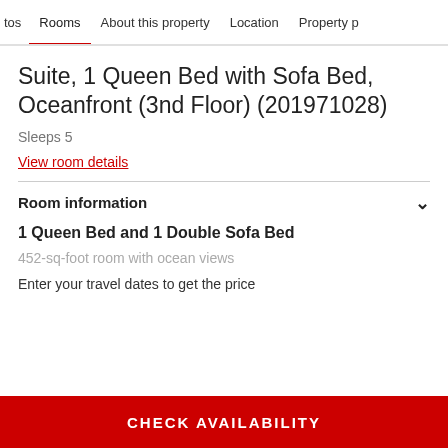tos   Rooms   About this property   Location   Property p
Suite, 1 Queen Bed with Sofa Bed, Oceanfront (3nd Floor) (201971028)
Sleeps 5
View room details
Room information
1 Queen Bed and 1 Double Sofa Bed
452-sq-foot room with ocean views
Enter your travel dates to get the price
CHECK AVAILABILITY